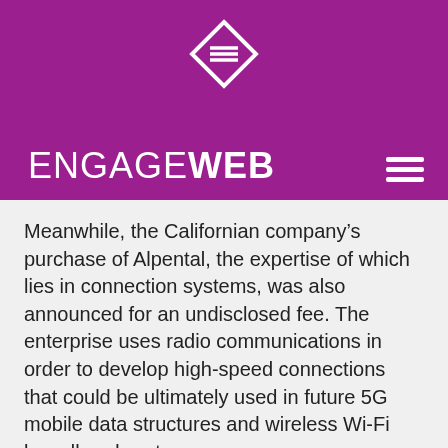ENGAGEWEB
Meanwhile, the Californian company's purchase of Alpental, the expertise of which lies in connection systems, was also announced for an undisclosed fee. The enterprise uses radio communications in order to develop high-speed connections that could be ultimately used in future 5G mobile data structures and wireless Wi-Fi broadband systems.
This particular move is believed to be part of the search firm's ambitious internet marketing strategy to provide web connections to remote areas of the globe. According to news suppliers, this is Google's 19th acquisition of and its estimated total spend has exceeded £5.5bn (£